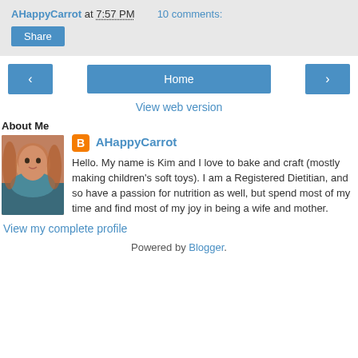AHappyCarrot at 7:57 PM   10 comments:
Share
< Home >
View web version
About Me
AHappyCarrot
Hello. My name is Kim and I love to bake and craft (mostly making children's soft toys). I am a Registered Dietitian, and so have a passion for nutrition as well, but spend most of my time and find most of my joy in being a wife and mother.
View my complete profile
Powered by Blogger.